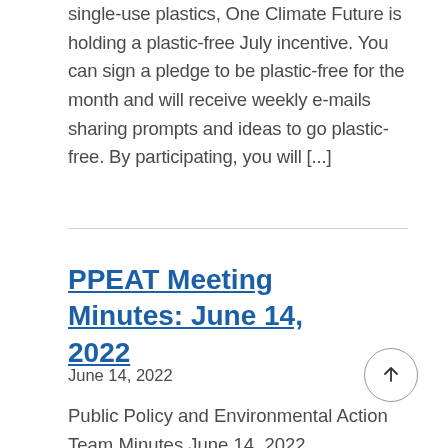single-use plastics, One Climate Future is holding a plastic-free July incentive. You can sign a pledge to be plastic-free for the month and will receive weekly e-mails sharing prompts and ideas to go plastic-free. By participating, you will [...]
PPEAT Meeting Minutes: June 14, 2022
June 14, 2022
Public Policy and Environmental Action Team Minutes June 14, 2022